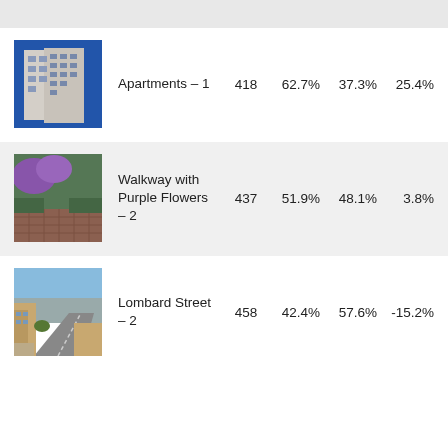[Figure (photo): Gray header bar at top of page]
[Figure (photo): Photo of apartment building exterior viewed from below against blue sky]
Apartments – 1   418   62.7%   37.3%   25.4%
[Figure (photo): Photo of a walkway with purple flowering trees and brick steps]
Walkway with Purple Flowers – 2   437   51.9%   48.1%   3.8%
[Figure (photo): Photo of Lombard Street in San Francisco with a sloped road and city view]
Lombard Street – 2   458   42.4%   57.6%   -15.2%